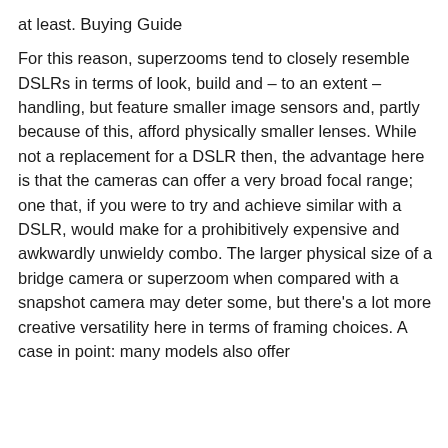at least.
Buying Guide
For this reason, superzooms tend to closely resemble DSLRs in terms of look, build and – to an extent – handling, but feature smaller image sensors and, partly because of this, afford physically smaller lenses. While not a replacement for a DSLR then, the advantage here is that the cameras can offer a very broad focal range; one that, if you were to try and achieve similar with a DSLR, would make for a prohibitively expensive and awkwardly unwieldy combo. The larger physical size of a bridge camera or superzoom when compared with a snapshot camera may deter some, but there's a lot more creative versatility here in terms of framing choices. A case in point: many models also offer